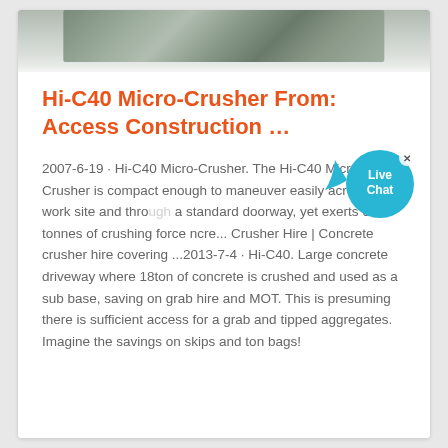[Figure (photo): Aerial or overhead photograph of a construction site with machinery, partially visible at top of page]
Hi-C40 Micro-Crusher From: Access Construction …
2007-6-19 · Hi-C40 Micro-Crusher. The Hi-C40 Micro-Crusher is compact enough to maneuver easily across a work site and through a standard doorway, yet exerts 60 tonnes of crushing force ncre... Crusher Hire | Concrete crusher hire covering ...2013-7-4 · Hi-C40. Large concrete driveway where 18ton of concrete is crushed and used as a sub base, saving on grab hire and MOT. This is presuming there is sufficient access for a grab and tipped aggregates. Imagine the savings on skips and ton bags!